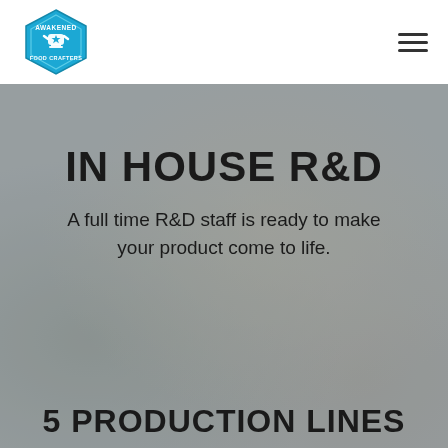Awakened Food Crafters [logo] [hamburger menu]
IN HOUSE R&D
A full time R&D staff is ready to make your product come to life.
5 PRODUCTION LINES